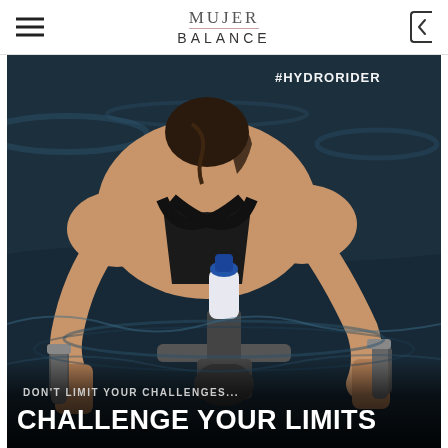MUJER BALANCE
[Figure (photo): Woman on an underwater exercise bike (hydro rider) in a swimming pool, leaning forward over the handlebars, wearing a black swimsuit. The water is dark blue. Text '#HYDRORIDER' appears in the top right corner. At the bottom, motivational text reads 'DON'T LIMIT YOUR CHALLENGES... CHALLENGE YOUR LIMITS'.]